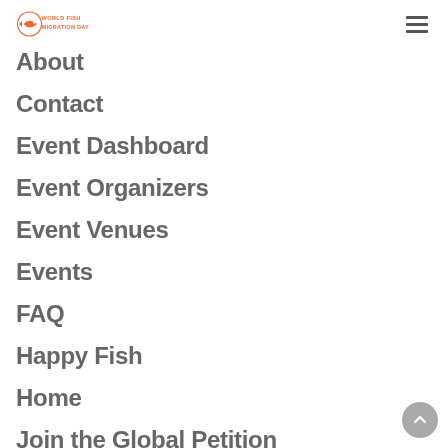World Fish Migration Day
About
Contact
Event Dashboard
Event Organizers
Event Venues
Events
FAQ
Happy Fish
Home
Join the Global Petition